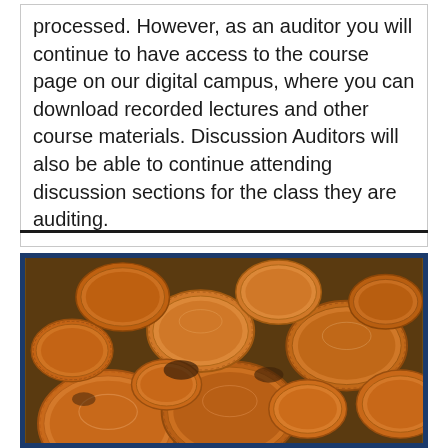processed. However, as an auditor you will continue to have access to the course page on our digital campus, where you can download recorded lectures and other course materials. Discussion Auditors will also be able to continue attending discussion sections for the class they are auditing.
[Figure (photo): Close-up photograph of a large pile of copper pennies/coins scattered together]